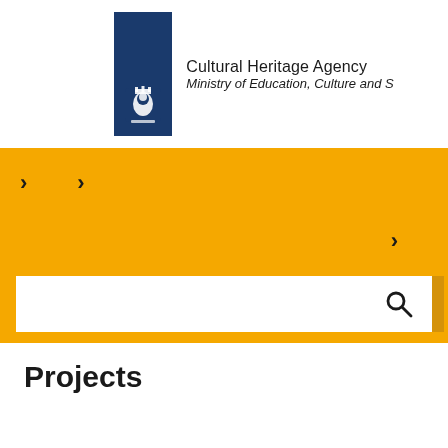[Figure (logo): Cultural Heritage Agency logo with Dutch royal coat of arms on dark blue background banner, with text 'Cultural Heritage Agency' and 'Ministry of Education, Culture and S']
[Figure (screenshot): Yellow navigation bar with chevron/arrow navigation items and a white search bar with magnifying glass icon]
Projects